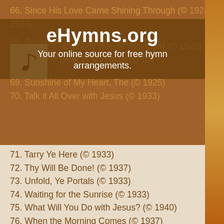eHymns.org
Your online source for free hymn arrangements.
66. Since His Love Came Shining Through (© 1924)
67. Somebody Needs Your Love (© 1940)
68. Speak to My Heart (© 1927)
69. Sunshine of My Heart, The (© 1925)
70. Talk it All Over with Jesus (© 1933)
71. Tarry Ye Here (© 1933)
72. Thy Will Be Done! (© 1937)
73. Unfold, Ye Portals (© 1933)
74. Waiting for the Sunrise (© 1933)
75. What Will You Do with Jesus? (© 1940)
76. When the Morning Comes (© 1937)
77. Wherever He Leads I'll Go (© 1936)
78. Whisper a Prayer (© 1940)
79. World Is Dying for Love, The (© 1933)
Music
1. Christ for the Whole Wide World! (© 1938)
2. Christian Home, The (© 1940)